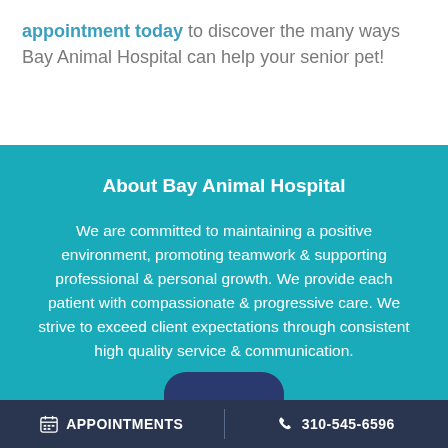appointment today to discover the many ways Bay Animal Hospital can help your senior pet!
About Bay Animal Hospital
We are committed to maintaining a positive environment, promoting teamwork & supporting professional & personal growth. We provide each patient with compassionate & progressive care. We strive to exceed client expectations through consistent high quality service & communication.
APPOINTMENTS  |  310-545-6596